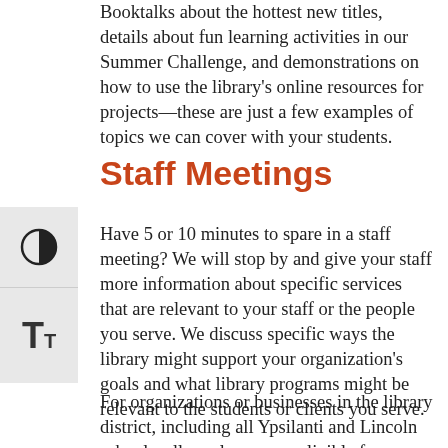Booktalks about the hottest new titles, details about fun learning activities in our Summer Challenge, and demonstrations on how to use the library's online resources for projects—these are just a few examples of topics we can cover with your students.
Staff Meetings
Have 5 or 10 minutes to spare in a staff meeting? We will stop by and give your staff more information about specific services that are relevant to your staff or the people you serve. We discuss specific ways the library might support your organization's goals and what library programs might be relevant to the students or clients you serve.
For organizations or businesses in the library district, including all Ypsilanti and Lincoln schools, all employees are eligible for a library card—let us tell your staff about